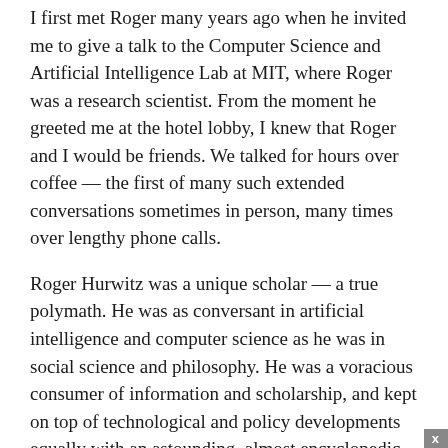I first met Roger many years ago when he invited me to give a talk to the Computer Science and Artificial Intelligence Lab at MIT, where Roger was a research scientist. From the moment he greeted me at the hotel lobby, I knew that Roger and I would be friends. We talked for hours over coffee — the first of many such extended conversations sometimes in person, many times over lengthy phone calls.
Roger Hurwitz was a unique scholar — a true polymath. He was as conversant in artificial intelligence and computer science as he was in social science and philosophy. He was a voracious consumer of information and scholarship, and kept on top of technological and policy developments equally with an astounding, almost encyclopedic knowledge.
Roger was deeply committed to the process of norm building in global cyberspace, which for him had as its goal mitigating the possibility that government uncertainty and self-interested behavior could lead to violent conflict. He worked tirelessly to bring stakeholders together to discuss norms